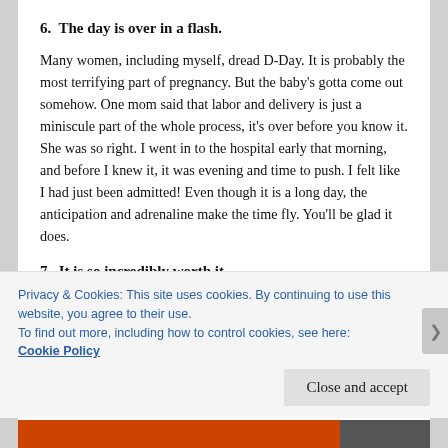6.  The day is over in a flash.
Many women, including myself, dread D-Day. It is probably the most terrifying part of pregnancy. But the baby's gotta come out somehow. One mom said that labor and delivery is just a miniscule part of the whole process, it's over before you know it. She was so right. I went in to the hospital early that morning, and before I knew it, it was evening and time to push. I felt like I had just been admitted! Even though it is a long day, the anticipation and adrenaline make the time fly. You'll be glad it does.
7.  It is so incredibly worth it.
Privacy & Cookies: This site uses cookies. By continuing to use this website, you agree to their use.
To find out more, including how to control cookies, see here: Cookie Policy
Close and accept